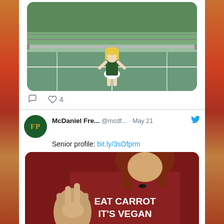[Figure (photo): Partial tweet showing a girl in tennis outfit on a green court, with reaction icons (comment, heart with count 4) below]
[Figure (screenshot): Tweet by McDaniel Fre... @mcdf... May 21 with text 'Senior profile: bit.ly/3sOfprm' and photo of a person wearing a dark red shirt saying 'EAT CARROT IT'S VEGAN' making peace sign]